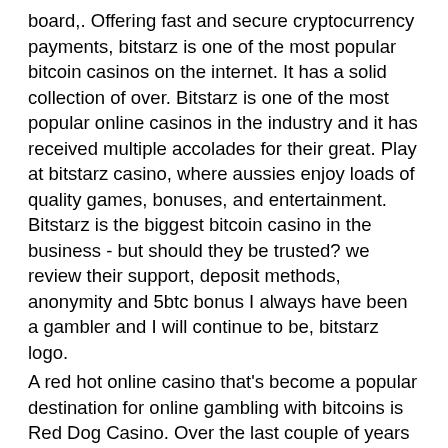board,. Offering fast and secure cryptocurrency payments, bitstarz is one of the most popular bitcoin casinos on the internet. It has a solid collection of over. Bitstarz is one of the most popular online casinos in the industry and it has received multiple accolades for their great. Play at bitstarz casino, where aussies enjoy loads of quality games, bonuses, and entertainment. Bitstarz is the biggest bitcoin casino in the business - but should they be trusted? we review their support, deposit methods, anonymity and 5btc bonus I always have been a gambler and I will continue to be, bitstarz logo.
A red hot online casino that's become a popular destination for online gambling with bitcoins is Red Dog Casino. Over the last couple of years its been operating on the web, Red Dog has grown into one of the largest bitcoin gambling sites allowing